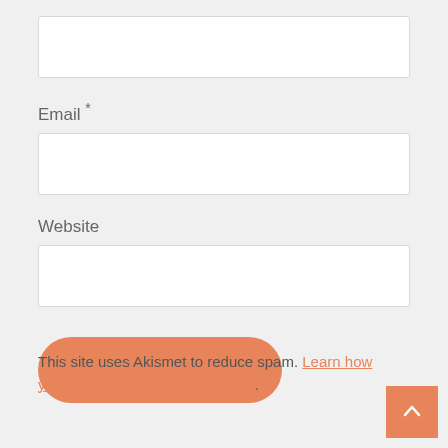[Figure (screenshot): Empty text input field (top, no label visible)]
Email *
[Figure (screenshot): Empty email input field]
Website
[Figure (screenshot): Empty website input field]
[Figure (screenshot): Orange rounded submit button]
This site uses Akismet to reduce spam. Learn how your comment data is processed.